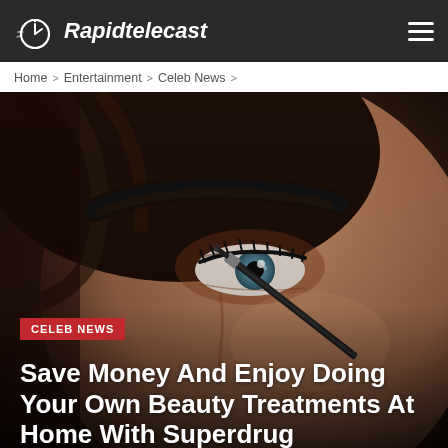Rapidtelecast
Home > Entertainment > Celeb News >
[Figure (photo): Close-up of a woman applying eyebrow makeup with a thin brush, looking directly at camera, dramatic beauty shot with dark background.]
CELEB NEWS
Save Money And Enjoy Doing Your Own Beauty Treatments At Home With Superdrug